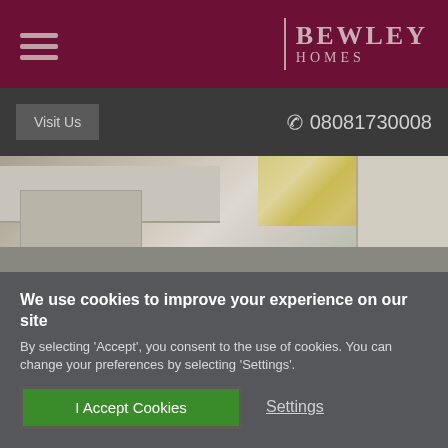[Figure (logo): Bewley Homes logo on dark red header background with hamburger menu icon]
Visit Us
08081730008
[Figure (photo): Interior kitchen photo showing white cabinets, countertop, extractor hood, and decorative curtain]
We use cookies to improve your experience on our site
By selecting 'Accept', you consent to the use of cookies. You can change your preferences by selecting 'Settings'.
I Accept Cookies
Settings